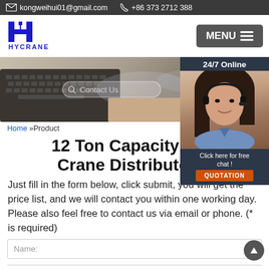kongweihui01@gmail.com   +86 373 2712 388
[Figure (logo): HYCRANE company logo with stylized H and crane hook symbol in dark blue]
MENU
[Figure (photo): Hero banner showing person typing on laptop keyboard]
[Figure (photo): 24/7 Online customer service agent widget with woman wearing headset, Click here for free chat, QUOTATION button]
Home »Product
12 Ton Capacity Bridge Crane Distributor A
Just fill in the form below, click submit, you will get the price list, and we will contact you within one working day. Please also feel free to contact us via email or phone. (* is required)
Name: